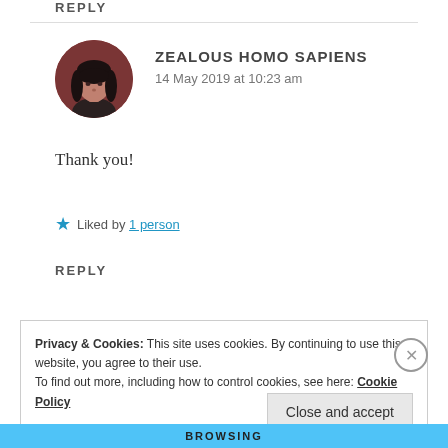REPLY
[Figure (photo): Circular avatar photo of a person with dark hair against a dark reddish-brown background]
ZEALOUS HOMO SAPIENS
14 May 2019 at 10:23 am
Thank you!
★ Liked by 1 person
REPLY
Privacy & Cookies: This site uses cookies. By continuing to use this website, you agree to their use.
To find out more, including how to control cookies, see here: Cookie Policy
Close and accept